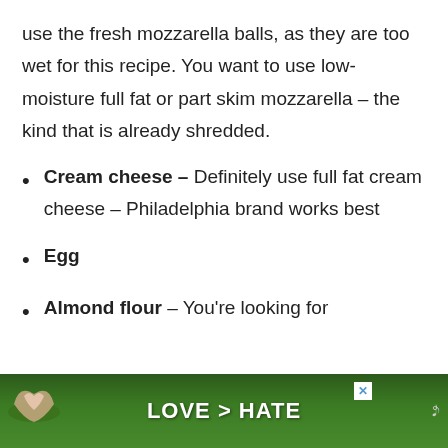use the fresh mozzarella balls, as they are too wet for this recipe. You want to use low-moisture full fat or part skim mozzarella – the kind that is already shredded.
Cream cheese – Definitely use full fat cream cheese – Philadelphia brand works best
Egg
Almond flour – You're looking for
[Figure (screenshot): Advertisement banner at the bottom of the page showing 'LOVE > HATE' text over a green background with hands forming a heart shape, with a close (X) button and a logo icon on the right.]